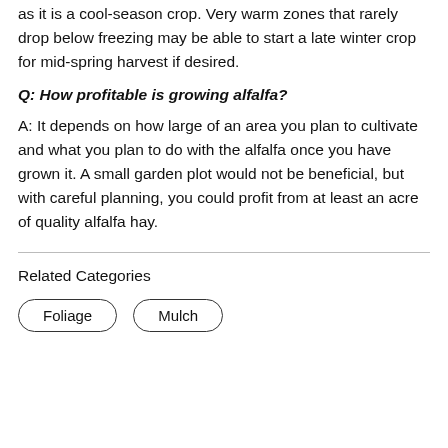as it is a cool-season crop. Very warm zones that rarely drop below freezing may be able to start a late winter crop for mid-spring harvest if desired.
Q: How profitable is growing alfalfa?
A: It depends on how large of an area you plan to cultivate and what you plan to do with the alfalfa once you have grown it. A small garden plot would not be beneficial, but with careful planning, you could profit from at least an acre of quality alfalfa hay.
Related Categories
Foliage
Mulch